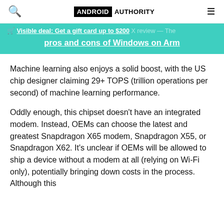ANDROID AUTHORITY
Visible deal: Get a gift card up to $200
X review — The pros and cons of Windows on Arm
Machine learning also enjoys a solid boost, with the US chip designer claiming 29+ TOPS (trillion operations per second) of machine learning performance.
Oddly enough, this chipset doesn't have an integrated modem. Instead, OEMs can choose the latest and greatest Snapdragon X65 modem, Snapdragon X55, or Snapdragon X62. It's unclear if OEMs will be allowed to ship a device without a modem at all (relying on Wi-Fi only), potentially bringing down costs in the process. Although this